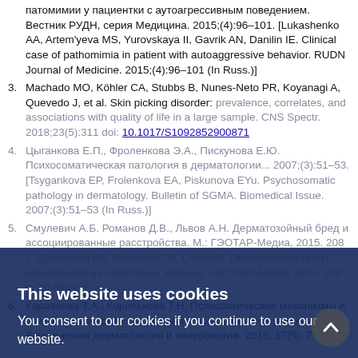патомимии у пациентки с аутоагрессивным поведением. Вестник РУДН, серия Медицина. 2015;(4):96–101. [Lukashenko AA, Artem'yeva MS, Yurovskaya II, Gavrik AN, Danilin IE. Clinical case of pathomimia in patient with autoaggressive behavior. RUDN Journal of Medicine. 2015;(4):96–101 (In Russ.)]
3. Machado MO, Köhler CA, Stubbs B, Nunes-Neto PR, Koyanagi A, Quevedo J, et al. Skin picking disorder: prevalence, correlates, and associations with quality of life in a large sample. CNS Spectr. 2018;23(5):311 doi: 10.1017/S1092852900871
4. Цыганкова Е.П., Фроленкова Э.А., Пискунова Е.Ю. Психосоматическая патология в дерматологии... 2007;(3):51–53. [Tsygankova EP, Frolenkova EA, Piskunova EYu. Psychosomatic pathology in dermatology. Bulletin of SGMA. Biomedical Issue. 2007;(3):51–53 (In Russ.)]
5. Смулевич А.Б. Романов Д.В., Львов А.Н. Дерматозойный бред и ассоциированные расстройства. М.: ГЭОТАР-Медиа, 2015. 208 с. [Smulevich AB, Romanov DV, L'vov AN. Dermatozoinyi bred I associirovannye rasstroisva. Moscow: GEOTAR-Media, 2015. 208 p. (In Russ.)]
6. Караваева Т.А., Королькова Т.Н. Психологические механизмы и психосоматические соотношения при различных дерматозах. Клиническая дерматология и венерология. 2018; 17(5): 7–16.
This website uses cookies
You consent to our cookies if you continue to use our website.
About Cookies
OK